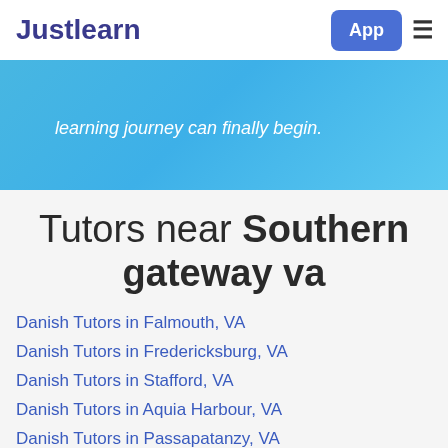Justlearn | App
learning journey can finally begin.
Tutors near Southern gateway va
Danish Tutors in Falmouth, VA
Danish Tutors in Fredericksburg, VA
Danish Tutors in Stafford, VA
Danish Tutors in Aquia Harbour, VA
Danish Tutors in Passapatanzy, VA
Danish Tutors in Spotsylvania, VA
Danish Tutors in Spotsylvania Courthouse, VA
Danish Tutors in Boswell's Corner, VA